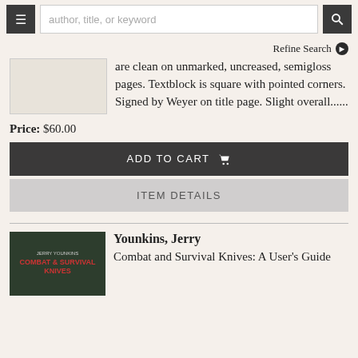author, title, or keyword
Refine Search
are clean on unmarked, uncreased, semigloss pages. Textblock is square with pointed corners. Signed by Weyer on title page. Slight overall......
Price: $60.00
ADD TO CART
ITEM DETAILS
Younkins, Jerry
Combat and Survival Knives: A User's Guide